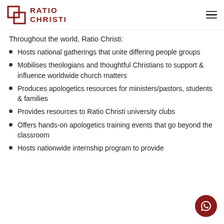Ratio Christi
Throughout the world, Ratio Christi:
Hosts national gatherings that unite differing people groups
Mobilises theologians and thoughtful Christians to support & influence worldwide church matters
Produces apologetics resources for ministers/pastors, students & families
Provides resources to Ratio Christi university clubs
Offers hands-on apologetics training events that go beyond the classroom
Hosts nationwide internship program to provide